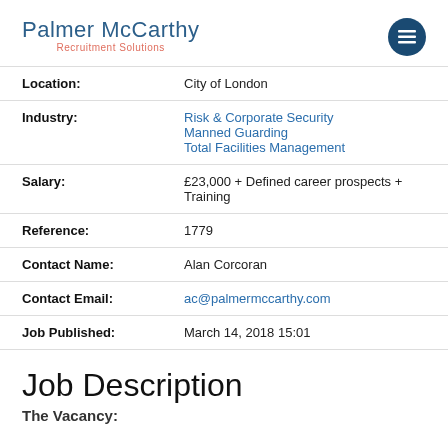Palmer McCarthy Recruitment Solutions
| Field | Value |
| --- | --- |
| Location: | City of London |
| Industry: | Risk & Corporate Security
Manned Guarding
Total Facilities Management |
| Salary: | £23,000 + Defined career prospects + Training |
| Reference: | 1779 |
| Contact Name: | Alan Corcoran |
| Contact Email: | ac@palmermccarthy.com |
| Job Published: | March 14, 2018 15:01 |
Job Description
The Vacancy: